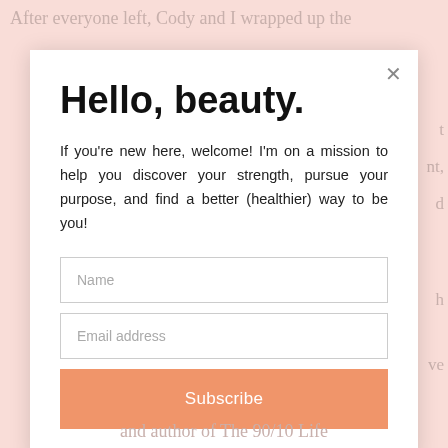After everyone left, Cody and I wrapped up the
Hello, beauty.
If you're new here, welcome! I'm on a mission to help you discover your strength, pursue your purpose, and find a better (healthier) way to be you!
Name
Email address
Subscribe
and author of The 90/10 Life